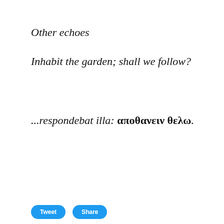Other echoes
Inhabit the garden; shall we follow?
...respondebat illa: αποθανειν θελω.